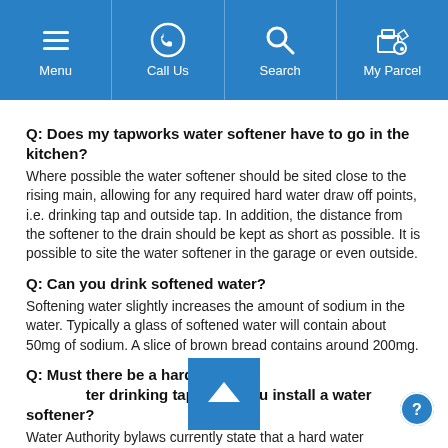Menu | Call Us | Search | My Parcel
[truncated top line]
Q: Does my tapworks water softener have to go in the kitchen?
Where possible the water softener should be sited close to the rising main, allowing for any required hard water draw off points, i.e. drinking tap and outside tap. In addition, the distance from the softener to the drain should be kept as short as possible. It is possible to site the water softener in the garage or even outside.
Q: Can you drink softened water?
Softening water slightly increases the amount of sodium in the water. Typically a glass of softened water will contain about 50mg of sodium. A slice of brown bread contains around 200mg.
Q: Must there be a hard water drinking tap when you install a water softener?
Water Authority bylaws currently state that a hard water